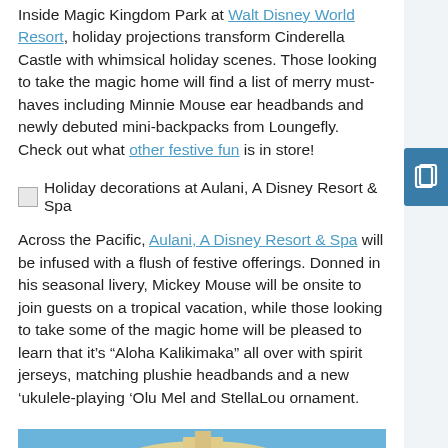Inside Magic Kingdom Park at Walt Disney World Resort, holiday projections transform Cinderella Castle with whimsical holiday scenes. Those looking to take the magic home will find a list of merry must-haves including Minnie Mouse ear headbands and newly debuted mini-backpacks from Loungefly. Check out what other festive fun is in store!
Holiday decorations at Aulani, A Disney Resort & Spa
Across the Pacific, Aulani, A Disney Resort & Spa will be infused with a flush of festive offerings. Donned in his seasonal livery, Mickey Mouse will be onsite to join guests on a tropical vacation, while those looking to take some of the magic home will be pleased to learn that it’s “Aloha Kalikimaka” all over with spirit jerseys, matching plushie headbands and a new ‘ukulele-playing ‘Olu Mel and StellaLou ornament.
[Figure (photo): Outdoor photo of a building exterior, likely a Disney resort property, with Art Deco architecture, holiday wreaths, a sign reading 'ELIAS & CO.', blue sky background, and trees with holiday decorations.]